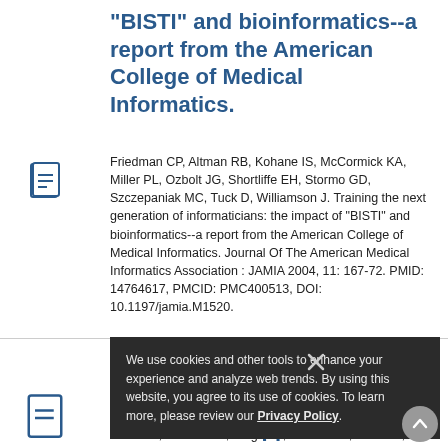"BISTI" and bioinformatics--a report from the American College of Medical Informatics.
Friedman CP, Altman RB, Kohane IS, McCormick KA, Miller PL, Ozbolt JG, Shortliffe EH, Stormo GD, Szczepaniak MC, Tuck D, Williamson J. Training the next generation of informaticians: the impact of "BISTI" and bioinformatics--a report from the American College of Medical Informatics. Journal Of The American Medical Informatics Association : JAMIA 2004, 11: 167-72. PMID: 14764617, PMCID: PMC400513, DOI: 10.1197/jamia.M1520.
We use cookies and other tools to enhance your experience and analyze web trends. By using this website, you agree to its use of cookies. To learn more, please review our Privacy Policy.
Miller PL, Nadkarni P, Singer M, Marenco L, Hines M,